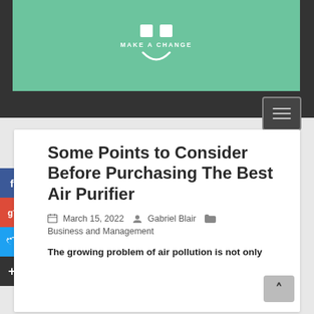[Figure (logo): Website header with green banner logo reading MAKE A CHANGE with white squares and smile icon, dark hamburger menu button]
Some Points to Consider Before Purchasing The Best Air Purifier
March 15, 2022   Gabriel Blair   Business and Management
The growing problem of air pollution is not only